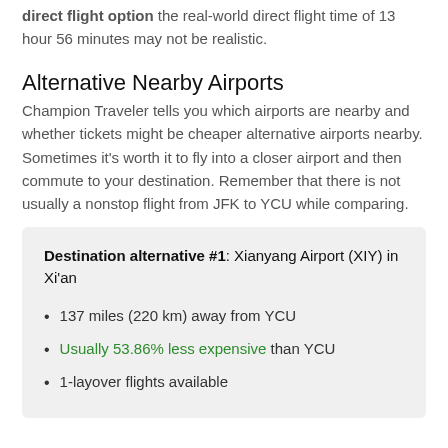direct flight option the real-world direct flight time of 13 hour 56 minutes may not be realistic.
Alternative Nearby Airports
Champion Traveler tells you which airports are nearby and whether tickets might be cheaper alternative airports nearby. Sometimes it's worth it to fly into a closer airport and then commute to your destination. Remember that there is not usually a nonstop flight from JFK to YCU while comparing.
Destination alternative #1: Xianyang Airport (XIY) in Xi'an
137 miles (220 km) away from YCU
Usually 53.86% less expensive than YCU
1-layover flights available